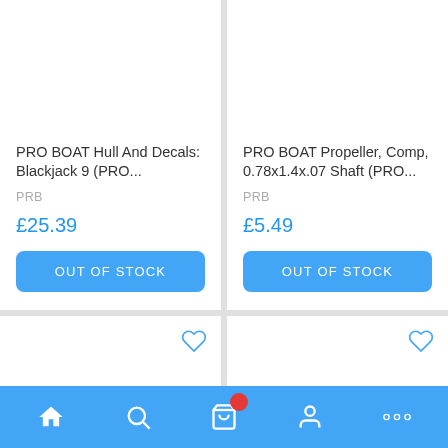PRO BOAT Hull And Decals: Blackjack 9 (PRO...
PRB
£25.39
OUT OF STOCK
PRO BOAT Propeller, Comp, 0.78x1.4x.07 Shaft (PRO...
PRB
£5.49
OUT OF STOCK
[Figure (screenshot): Mobile e-commerce app screenshot showing product grid with two items (PRO BOAT Hull And Decals at £25.39 and PRO BOAT Propeller at £5.49), both out of stock, with bottom navigation bar]
Bottom navigation bar with home, search, cart, profile, and more icons